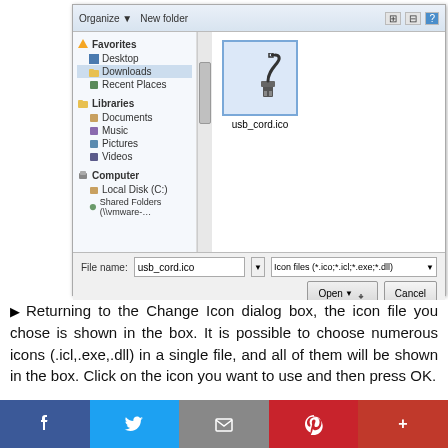[Figure (screenshot): Windows file open dialog showing Downloads folder selected in the left sidebar, with a USB cord icon file (usb_cord.ico) visible in the main area. The file name field shows 'usb_cord.ico' and the file type filter shows 'Icon files (*.ico;*.icl;*.exe;*.dll)'. Open and Cancel buttons are visible at the bottom.]
Returning to the Change Icon dialog box, the icon file you chose is shown in the box. It is possible to choose numerous icons (.icl,.exe,.dll) in a single file, and all of them will be shown in the box. Click on the icon you want to use and then press OK.
[Figure (screenshot): Social media sharing bar with Facebook, Twitter, Email, Pinterest, and Plus/More buttons]